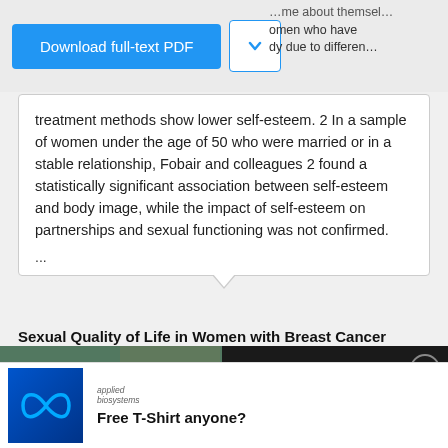[Figure (screenshot): Download full-text PDF button (blue) with dropdown arrow button]
treatment methods show lower self-esteem. 2 In a sample of women under the age of 50 who were married or in a stable relationship, Fobair and colleagues 2 found a statistically significant association between self-esteem and body image, while the impact of self-esteem on partnerships and sexual functioning was not confirmed.
...
Sexual Quality of Life in Women with Breast Cancer
[Figure (screenshot): Video thumbnail showing students in a library with play button overlay, captioned 'HOW YOU CAN USE EMPLOYER BRANDING AS PART OF YOUR RECRUITMENT STRATEGY IN ACADEMIA'. Right panel on dark background reads 'How you can use Employer Branding as part of your recruitment strategy in academia' with close button.]
[Figure (logo): Applied Biosystems logo - blue infinity symbol on dark blue background, with text 'applied biosystems']
Free T-Shirt anyone?